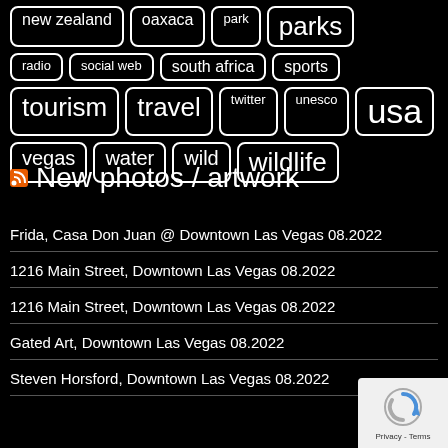new zealand
oaxaca
park
parks
radio
social web
south africa
sports
tourism
travel
twitter
unesco
usa
vegas
water
wild
wildlife
New photos / artwork
Frida, Casa Don Juan @ Downtown Las Vegas 08.2022
1216 Main Street, Downtown Las Vegas 08.2022
1216 Main Street, Downtown Las Vegas 08.2022
Gated Art, Downtown Las Vegas 08.2022
Steven Horsford, Downtown Las Vegas 08.2022